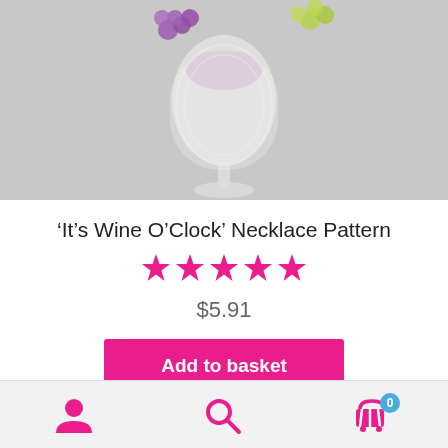[Figure (photo): Photo of a beaded wine glass necklace pendant made with white, purple and green beads on a light grey background]
‘It’s Wine O’Clock’ Necklace Pattern
[Figure (other): Five pink star rating icons]
$5.91
Add to basket
Add to Wishlist
User icon, Search icon, Cart icon with badge 0